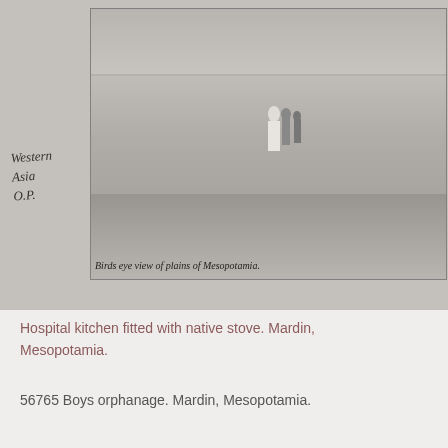[Figure (photo): Black and white historical photograph mounted on grey card. Shows a wide landscape with figures in the middle distance. Handwritten annotations visible: 'Western Asia O.P.' on the left side of the mount, and 'Birds eye view of plains of Mesopotamia.' written below the photograph.]
Hospital kitchen fitted with native stove. Mardin, Mesopotamia.
56765 Boys orphanage. Mardin, Mesopotamia.